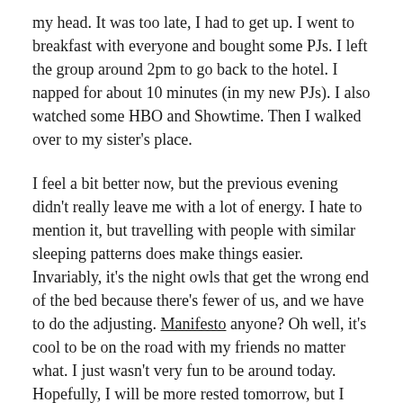my head. It was too late, I had to get up. I went to breakfast with everyone and bought some PJs. I left the group around 2pm to go back to the hotel. I napped for about 10 minutes (in my new PJs). I also watched some HBO and Showtime. Then I walked over to my sister's place.
I feel a bit better now, but the previous evening didn't really leave me with a lot of energy. I hate to mention it, but travelling with people with similar sleeping patterns does make things easier. Invariably, it's the night owls that get the wrong end of the bed because there's fewer of us, and we have to do the adjusting. Manifesto anyone? Oh well, it's cool to be on the road with my friends no matter what. I just wasn't very fun to be around today. Hopefully, I will be more rested tomorrow, but I doubt it since I anticipate getting up early again.